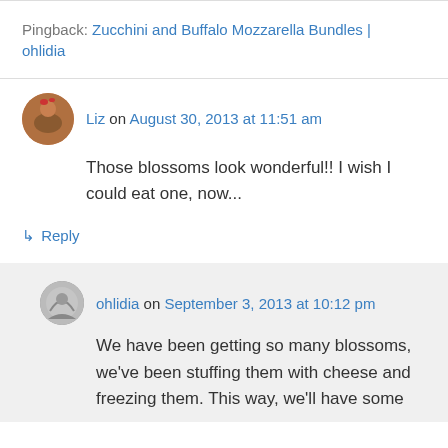Pingback: Zucchini and Buffalo Mozzarella Bundles | ohlidia
Liz on August 30, 2013 at 11:51 am
Those blossoms look wonderful!! I wish I could eat one, now...
↳ Reply
ohlidia on September 3, 2013 at 10:12 pm
We have been getting so many blossoms, we've been stuffing them with cheese and freezing them. This way, we'll have some